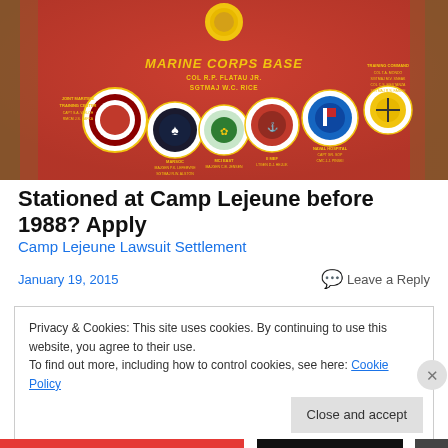[Figure (photo): A red Marine Corps Base sign with gold text reading 'MARINE CORPS BASE / COL R.P. FLATAU JR. / SGTMAJ W.C. RICE' along with multiple circular military emblems/patches, flanked by trees]
Stationed at Camp Lejeune before 1988? Apply
Camp Lejeune Lawsuit Settlement
January 19, 2015
Leave a Reply
Privacy & Cookies: This site uses cookies. By continuing to use this website, you agree to their use.
To find out more, including how to control cookies, see here: Cookie Policy